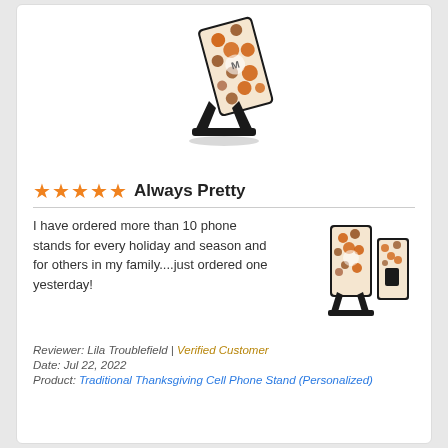[Figure (photo): Phone stand product image - a decorative cell phone stand with traditional Thanksgiving pattern (orange, brown, fall colors) photographed at an angle on a white background]
★★★★★ Always Pretty
I have ordered more than 10 phone stands for every holiday and season and for others in my family....just ordered one yesterday!
[Figure (photo): Thumbnail product image showing front and back of Traditional Thanksgiving Cell Phone Stand with fall/harvest pattern]
Reviewer: Lila Troublefield | Verified Customer
Date: Jul 22, 2022
Product: Traditional Thanksgiving Cell Phone Stand (Personalized)